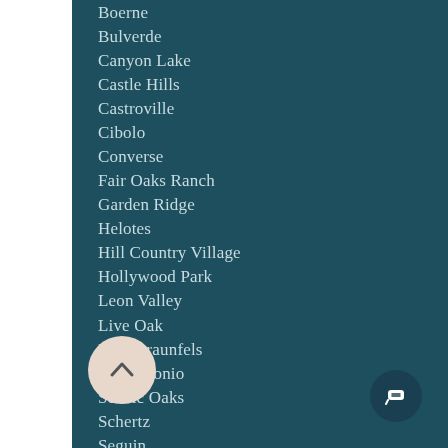Boerne
Bulverde
Canyon Lake
Castle Hills
Castroville
Cibolo
Converse
Fair Oaks Ranch
Garden Ridge
Helotes
Hill Country Village
Hollywood Park
Leon Valley
Live Oak
New Braunfels
San Antonio
Scenic Oaks
Schertz
Seguin
Shavano Park
Terrell Hills
The Dominion